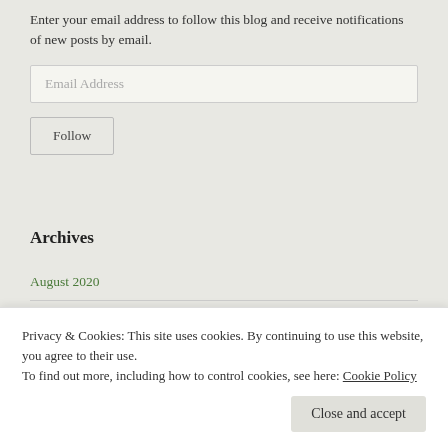Enter your email address to follow this blog and receive notifications of new posts by email.
Archives
August 2020
July 2020
Privacy & Cookies: This site uses cookies. By continuing to use this website, you agree to their use.
To find out more, including how to control cookies, see here: Cookie Policy
Close and accept